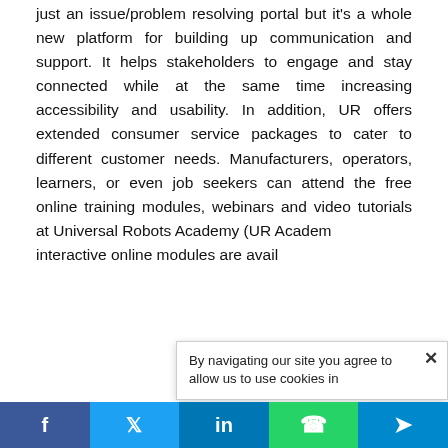just an issue/problem resolving portal but it's a whole new platform for building up communication and support. It helps stakeholders to engage and stay connected while at the same time increasing accessibility and usability. In addition, UR offers extended consumer service packages to cater to different customer needs. Manufacturers, operators, learners, or even job seekers can attend the free online training modules, webinars and video tutorials at Universal Robots Academy (UR Academy interactive online modules are avail...
By navigating our site you agree to allow us to use cookies in...
f  t  in  [whatsapp icon]  [telegram icon]